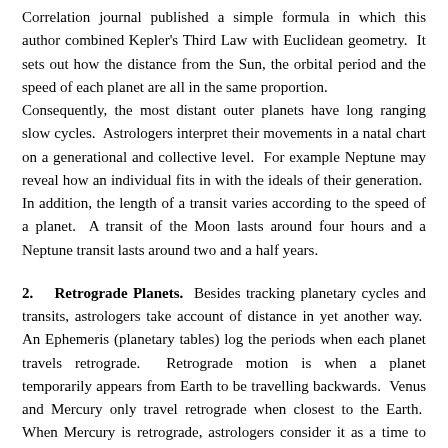Correlation journal published a simple formula in which this author combined Kepler's Third Law with Euclidean geometry. It sets out how the distance from the Sun, the orbital period and the speed of each planet are all in the same proportion.
Consequently, the most distant outer planets have long ranging slow cycles. Astrologers interpret their movements in a natal chart on a generational and collective level. For example Neptune may reveal how an individual fits in with the ideals of their generation. In addition, the length of a transit varies according to the speed of a planet. A transit of the Moon lasts around four hours and a Neptune transit lasts around two and a half years.
2. Retrograde Planets. Besides tracking planetary cycles and transits, astrologers take account of distance in yet another way. An Ephemeris (planetary tables) log the periods when each planet travels retrograde. Retrograde motion is when a planet temporarily appears from Earth to be travelling backwards. Venus and Mercury only travel retrograde when closest to the Earth. When Mercury is retrograde, astrologers consider it as a time to rethink, review, rewrite and even reroute journeys.